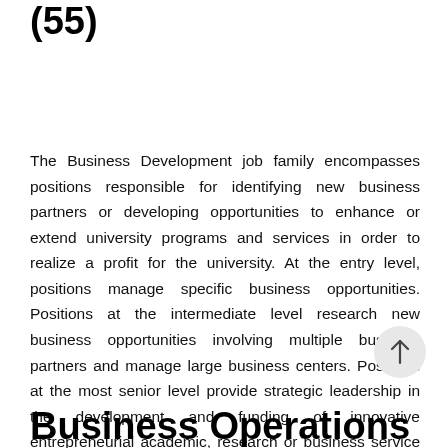(55)
The Business Development job family encompasses positions responsible for identifying new business partners or developing opportunities to enhance or extend university programs and services in order to realize a profit for the university. At the entry level, positions manage specific business opportunities. Positions at the intermediate level research new business opportunities involving multiple business partners and manage large business centers. Positions at the most senior level provide strategic leadership in the development and funding of innovative entrepreneurial academic, research or business service opportunities.
Business Operations